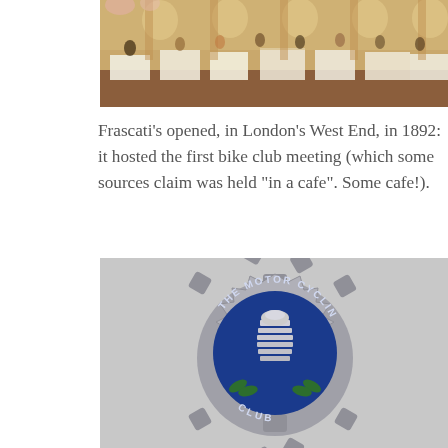[Figure (photo): Painting or vintage illustration of an elegant restaurant interior with many diners seated at white-clothed tables, waiters serving, ornate arched windows and columns in the background — Frascati's restaurant in London's West End.]
Frascati's opened, in London's West End, in 1892: it hosted the first bike club meeting (which some sources claim was held "in a cafe". Some cafe!).
[Figure (photo): Close-up photograph of a metal badge or car badge for 'The Motor Cycling Club', shaped like a gear/cog wheel with a blue enamel centre featuring a chrome/silver radiator grille motif and green leaf decorations, with the club name inscribed around the blue circle.]